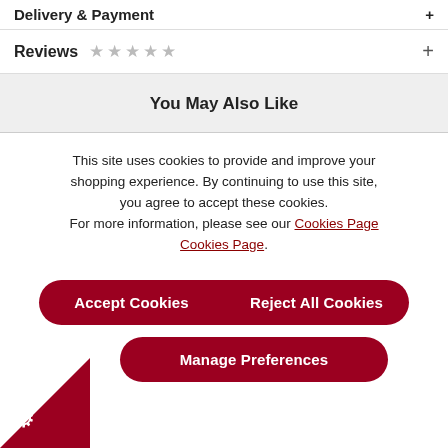Delivery & Payment +
Reviews ☆☆☆☆☆ +
You May Also Like
This site uses cookies to provide and improve your shopping experience. By continuing to use this site, you agree to accept these cookies. For more information, please see our Cookies Page Cookies Page.
Accept Cookies
Reject All Cookies
Manage Preferences